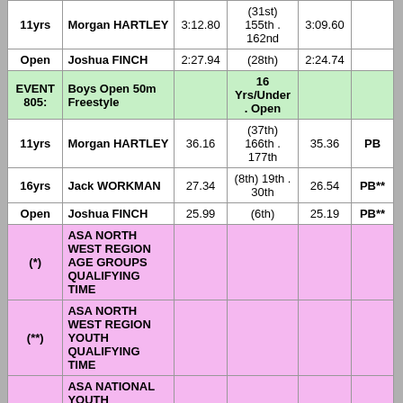| Age | Name | Entry Time | Position | Race Time | Notes |
| --- | --- | --- | --- | --- | --- |
| 11yrs | Morgan HARTLEY | 3:12.80 | (31st) 155th . 162nd | 3:09.60 |  |
| Open | Joshua FINCH | 2:27.94 | (28th) | 2:24.74 |  |
| EVENT 805: | Boys Open 50m Freestyle |  | 16 Yrs/Under . Open |  |  |
| 11yrs | Morgan HARTLEY | 36.16 | (37th) 166th . 177th | 35.36 | PB |
| 16yrs | Jack WORKMAN | 27.34 | (8th) 19th . 30th | 26.54 | PB** |
| Open | Joshua FINCH | 25.99 | (6th) | 25.19 | PB** |
| (*) | ASA NORTH WEST REGION AGE GROUPS QUALIFYING TIME |  |  |  |  |
| (**) | ASA NORTH WEST REGION YOUTH QUALIFYING TIME |  |  |  |  |
| (***) | ASA NATIONAL YOUTH QUALIFYING TIME |  |  |  |  |